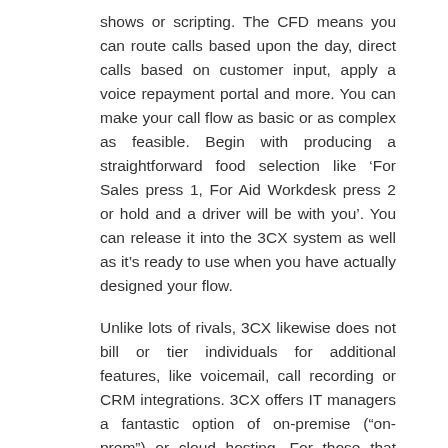shows or scripting. The CFD means you can route calls based upon the day, direct calls based on customer input, apply a voice repayment portal and more. You can make your call flow as basic or as complex as feasible. Begin with producing a straightforward food selection like ‘For Sales press 1, For Aid Workdesk press 2 or hold and a driver will be with you’. You can release it into the 3CX system as well as it’s ready to use when you have actually designed your flow.
Unlike lots of rivals, 3CX likewise does not bill or tier individuals for additional features, like voicemail, call recording or CRM integrations. 3CX offers IT managers a fantastic option of on-premise (“on-prem”) or cloud hosting. For those that want extra protection, you can also have both, giving a practically perfect redundancy solution. Although 3CX is created as a cloud-hosted system, the PBX